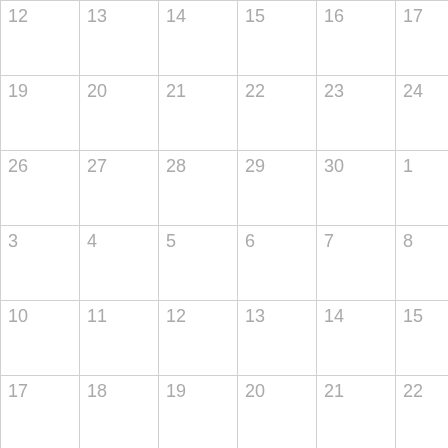| 12 | 13 | 14 | 15 | 16 | 17 | 18 |
| 19 | 20 | 21 | 22 | 23 | 24 | 25 |
| 26 | 27 | 28 | 29 | 30 | 1 | 2 |
| 3 | 4 | 5 | 6 | 7 | 8 | 9 |
| 10 | 11 | 12 | 13 | 14 | 15 | 16 |
| 17 | 18 | 19 | 20 | 21 | 22 | 23 |
| 24 | 25 | 26 | 27 | 28 | 29 | 30 |